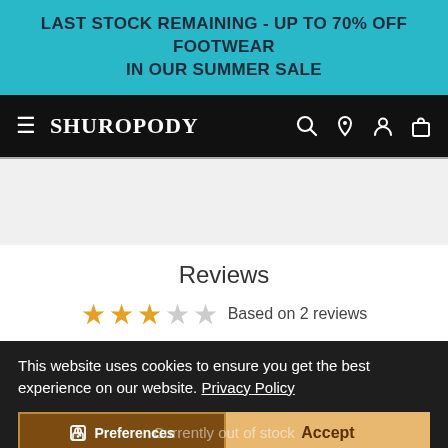LAST STOCK REMAINING - UP TO 70% OFF FOOTWEAR IN OUR SUMMER SALE
SHUROPODY
[Figure (screenshot): Grey placeholder content area]
Reviews
Based on 2 reviews
This website uses cookies to ensure you get the best experience on our website. Privacy Policy
Preferences   Currently out of stock   Accept